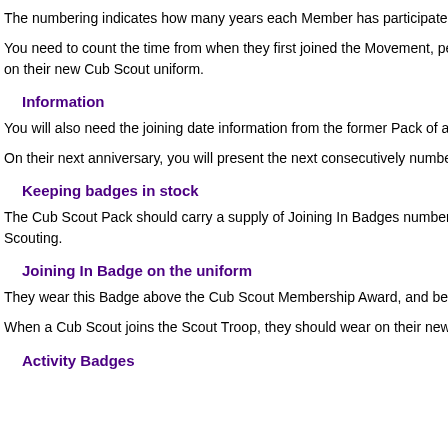The numbering indicates how many years each Member has participated in the Pr
You need to count the time from when they first joined the Movement, perhaps as on their new Cub Scout uniform.
Information
You will also need the joining date information from the former Pack of any Cub Sc
On their next anniversary, you will present the next consecutively numbered Joinin
Keeping badges in stock
The Cub Scout Pack should carry a supply of Joining In Badges numbered from Scouting.
Joining In Badge on the uniform
They wear this Badge above the Cub Scout Membership Award, and below the Be
When a Cub Scout joins the Scout Troop, they should wear on their new Scout uni
Activity Badges